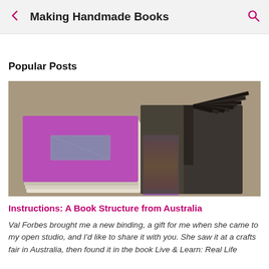Making Handmade Books
Popular Posts
[Figure (photo): Two handmade books: one with a purple cover featuring a window cutout showing pages stacked underneath, and one open book with dark covers fanned open showing colorful purple and orange interior pages.]
Instructions: A Book Structure from Australia
Val Forbes brought me a new binding, a gift for me when she came to my open studio, and I'd like to share it with you. She saw it at a crafts fair in Australia, then found it in the book Live & Learn: Real Life